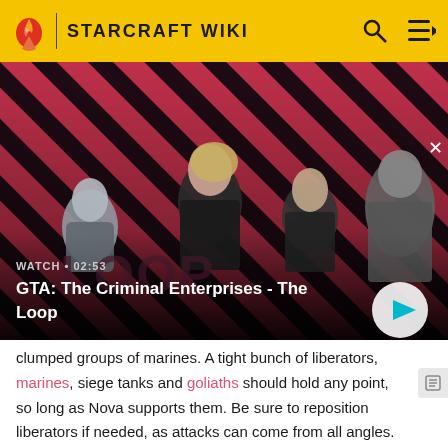STARCRAFT WIKI
[Figure (screenshot): GTA: The Criminal Enterprises - The Loop video thumbnail with four characters on a red diagonal striped background. Shows WATCH • 02:53 label and a play button.]
clumped groups of marines. A tight bunch of liberators, marines, siege tanks and goliaths should hold any point, so long as Nova supports them. Be sure to reposition liberators if needed, as attacks can come from all angles.